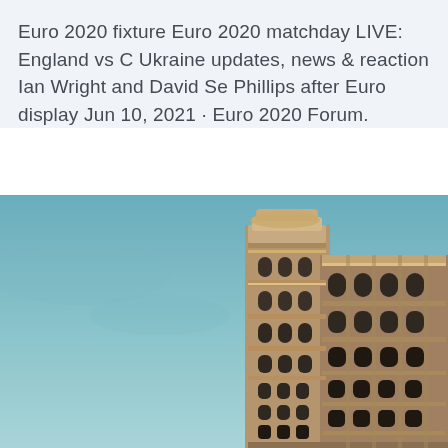Euro 2020 fixture Euro 2020 matchday LIVE: England vs C Ukraine updates, news & reaction Ian Wright and David Se Phillips after Euro display Jun 10, 2021 · Euro 2020 Forum.
[Figure (photo): Photo of the Flatiron Building (or similar ornate early 20th-century skyscraper) shot from a low angle against a teal/blue sky. The building shows elaborate terracotta ornamentation, arched windows, and a rounded corner facade.]